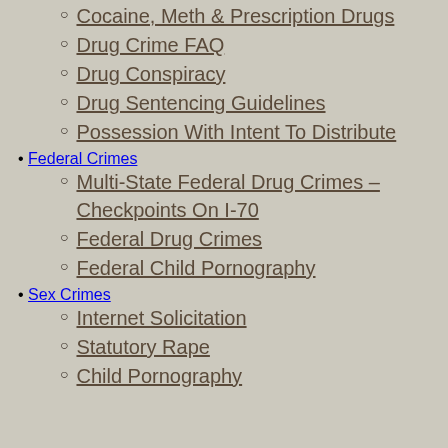Cocaine, Meth & Prescription Drugs
Drug Crime FAQ
Drug Conspiracy
Drug Sentencing Guidelines
Possession With Intent To Distribute
Federal Crimes
Multi-State Federal Drug Crimes – Checkpoints On I-70
Federal Drug Crimes
Federal Child Pornography
Sex Crimes
Internet Solicitation
Statutory Rape
Child Pornography